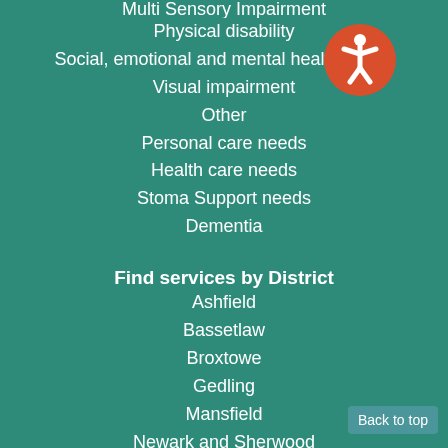Multi Sensory Impairment
Physical disability
Social, emotional and mental health needs
Visual impairment
Other
Personal care needs
Health care needs
Stoma Support needs
Dementia
Find services by District
Ashfield
Bassetlaw
Broxtowe
Gedling
Mansfield
Newark and Sherwood
Rushcliffe
National
Nottingham City
Back to top